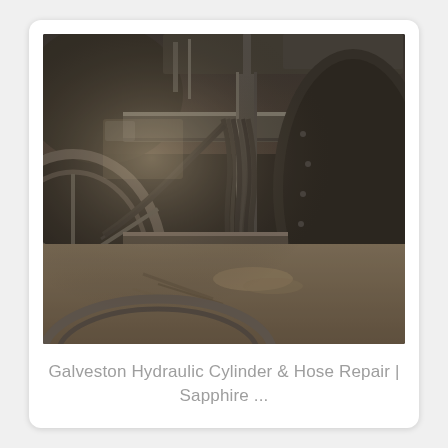[Figure (photo): Close-up photograph of industrial hydraulic machinery components, showing metal frames, hydraulic hoses/cables, and sandy/earthy ground below. The image has a dark, desaturated sepia-toned industrial aesthetic. Visible are large circular metal rims, structural steel beams, and bundles of hydraulic hoses running between components.]
Galveston Hydraulic Cylinder & Hose Repair | Sapphire ...